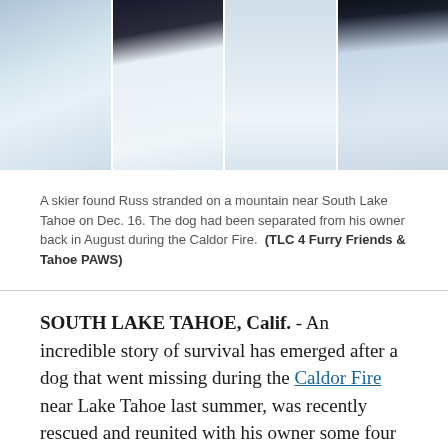[Figure (photo): Four snow-covered mountain scene photos arranged in a horizontal strip, showing a dog (Russ) stranded in deep snow near South Lake Tahoe.]
A skier found Russ stranded on a mountain near South Lake Tahoe on Dec. 16. The dog had been separated from his owner back in August during the Caldor Fire.  (TLC 4 Furry Friends & Tahoe PAWS)
SOUTH LAKE TAHOE, Calif. - An incredible story of survival has emerged after a dog that went missing during the Caldor Fire near Lake Tahoe last summer, was recently rescued and reunited with his owner some four months after his disappearance.
Russ, a pit bull-terrier mix, got separated from his owner last August, when he got startled and bolted from the owner's vehicle, according to rescue officials with the non-profit TLC 4 Furry Friends & Tahoe Paws